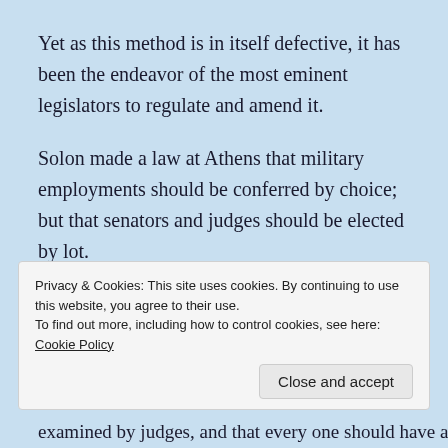Yet as this method is in itself defective, it has been the endeavor of the most eminent legislators to regulate and amend it.
Solon made a law at Athens that military employments should be conferred by choice; but that senators and judges should be elected by lot.
The same legislator ordained that civil magistracies, attended with great expense, should be given by choice, and the others by lot.
Privacy & Cookies: This site uses cookies. By continuing to use this website, you agree to their use.
To find out more, including how to control cookies, see here: Cookie Policy
Close and accept
examined by judges, and that every one should have a